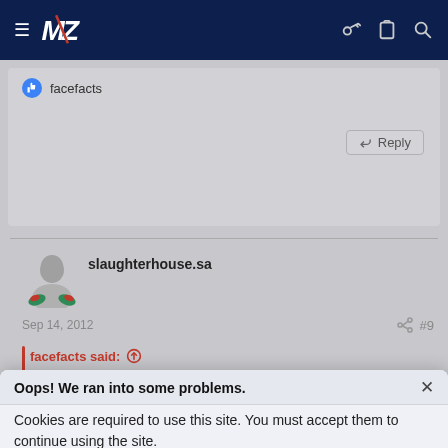[Figure (screenshot): Dark navy website header with hamburger menu icon, MZ logo (white letters with stripe), key icon, clipboard icon, and search icon]
facefacts
Reply
slaughterhouse.sa
Sep 14, 2012  #9
facefacts said: ↑
Oops! We ran into some problems.
Cookies are required to use this site. You must accept them to continue using the site.